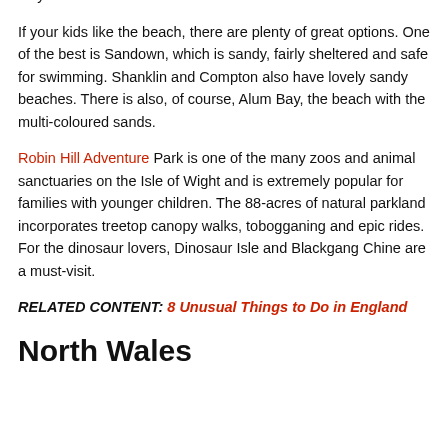on the island, there is plenty to do on your Isle of Wight staycation.
If your kids like the beach, there are plenty of great options. One of the best is Sandown, which is sandy, fairly sheltered and safe for swimming. Shanklin and Compton also have lovely sandy beaches. There is also, of course, Alum Bay, the beach with the multi-coloured sands.
Robin Hill Adventure Park is one of the many zoos and animal sanctuaries on the Isle of Wight and is extremely popular for families with younger children. The 88-acres of natural parkland incorporates treetop canopy walks, tobogganing and epic rides. For the dinosaur lovers, Dinosaur Isle and Blackgang Chine are a must-visit.
RELATED CONTENT: 8 Unusual Things to Do in England
North Wales